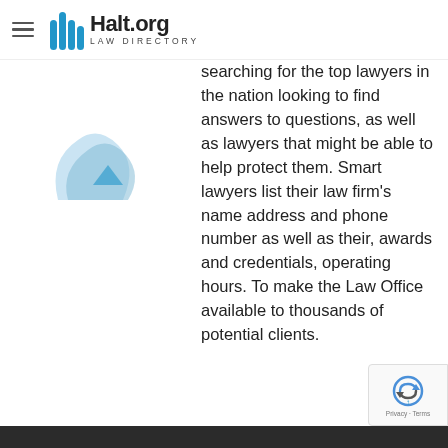Halt.org Law Directory
[Figure (logo): Halt.org Law Directory logo with blue pillar icon and dark text]
[Figure (illustration): Partial decorative image on the left side of the page, partially cropped]
searching for the top lawyers in the nation looking to find answers to questions, as well as lawyers that might be able to help protect them. Smart lawyers list their law firm's name address and phone number as well as their, awards and credentials, operating hours. To make the Law Office available to thousands of potential clients.